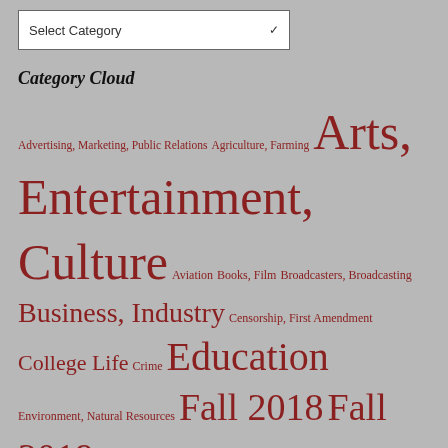[Figure (other): Select Category dropdown box]
Category Cloud
Advertising, Marketing, Public Relations  Agriculture, Farming  Arts, Entertainment, Culture  Aviation  Books, Film  Broadcasters, Broadcasting  Business, Industry  Censorship, First Amendment  College Life  Crime  Education  Environment, Natural Resources  Fall 2018  Fall 2019  Fashion  Food, Restaurants  Geography, Places  Government, Law, Politics  Health, Medicine  Journalists, Journalism  LGBTQ+  Military  Mining  Music,